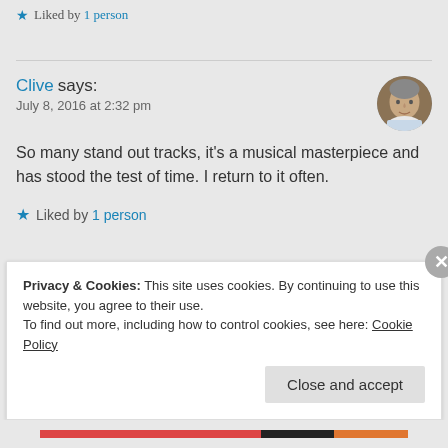★ Liked by 1 person
Clive says:
July 8, 2016 at 2:32 pm
So many stand out tracks, it's a musical masterpiece and has stood the test of time. I return to it often.
★ Liked by 1 person
Privacy & Cookies: This site uses cookies. By continuing to use this website, you agree to their use.
To find out more, including how to control cookies, see here: Cookie Policy
Close and accept